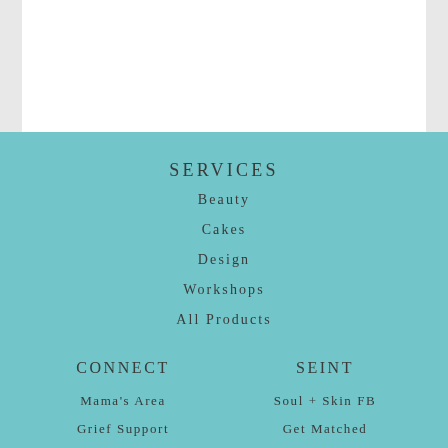SERVICES
Beauty
Cakes
Design
Workshops
All Products
CONNECT
Mama's Area
Grief Support
SEINT
Soul + Skin FB
Get Matched